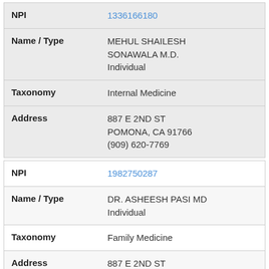| Field | Value |
| --- | --- |
| NPI | 1336166180 |
| Name / Type | MEHUL SHAILESH SONAWALA M.D.
Individual |
| Taxonomy | Internal Medicine |
| Address | 887 E 2ND ST
POMONA, CA 91766
(909) 620-7769 |
| Field | Value |
| --- | --- |
| NPI | 1982750287 |
| Name / Type | DR. ASHEESH PASI MD
Individual |
| Taxonomy | Family Medicine |
| Address | 887 E 2ND ST
POMONA, CA 91766
(909) 467-0797 |